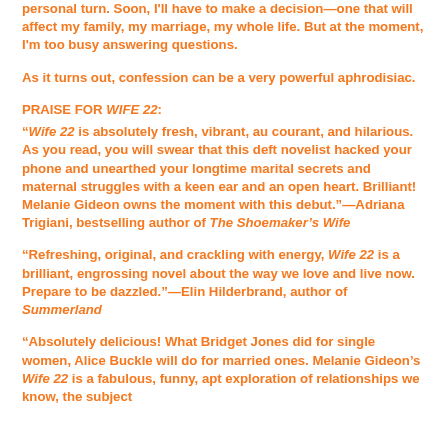personal turn. Soon, I'll have to make a decision—one that will affect my family, my marriage, my whole life. But at the moment, I'm too busy answering questions.
As it turns out, confession can be a very powerful aphrodisiac.
PRAISE FOR WIFE 22:
"Wife 22 is absolutely fresh, vibrant, au courant, and hilarious. As you read, you will swear that this deft novelist hacked your phone and unearthed your longtime marital secrets and maternal struggles with a keen ear and an open heart. Brilliant! Melanie Gideon owns the moment with this debut."—Adriana Trigiani, bestselling author of The Shoemaker's Wife
"Refreshing, original, and crackling with energy, Wife 22 is a brilliant, engrossing novel about the way we love and live now. Prepare to be dazzled."—Elin Hilderbrand, author of Summerland
"Absolutely delicious! What Bridget Jones did for single women, Alice Buckle will do for married ones. Melanie Gideon's Wife 22 is a fabulous, funny, apt exploration of relationships we know, the subject